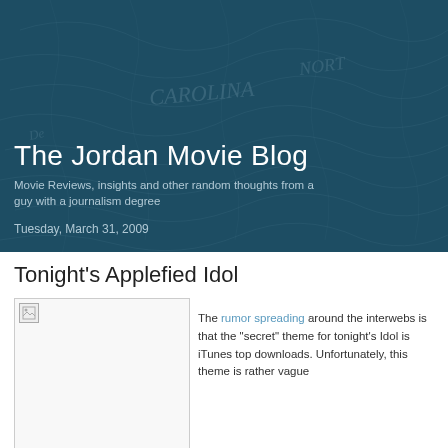The Jordan Movie Blog
Movie Reviews, insights and other random thoughts from a guy with a journalism degree
Tuesday, March 31, 2009
Tonight's Applefied Idol
[Figure (photo): Broken image placeholder in white box with thin border]
The rumor spreading around the interwebs is that the "secret" theme for tonight's Idol is iTunes top downloads.  Unfortunately, this theme is rather vague